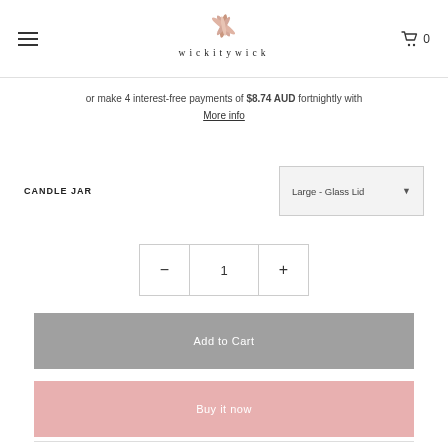[Figure (logo): Wickitywick logo with floral/feather icon above the text 'wickitywick' in spaced serif letters]
or make 4 interest-free payments of $8.74 AUD fortnightly with
More info
CANDLE JAR  Large - Glass Lid
- 1 +
Add to Cart
Buy it now